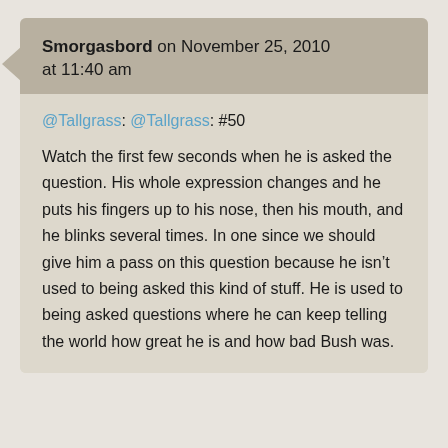Smorgasbord on November 25, 2010 at 11:40 am
@Tallgrass: @Tallgrass: #50

Watch the first few seconds when he is asked the question. His whole expression changes and he puts his fingers up to his nose, then his mouth, and he blinks several times. In one since we should give him a pass on this question because he isn't used to being asked this kind of stuff. He is used to being asked questions where he can keep telling the world how great he is and how bad Bush was.